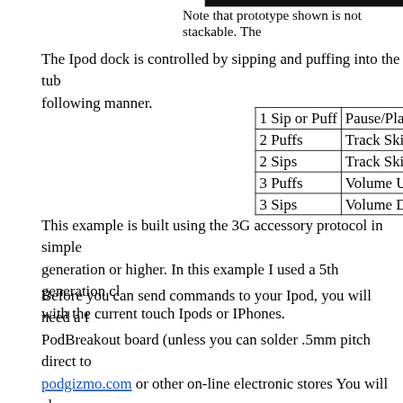Note that prototype shown is not stackable. The
The Ipod dock is controlled by sipping and puffing into the tub following manner.
|  |  |
| --- | --- |
| 1 Sip or Puff | Pause/Play |
| 2 Puffs | Track Skip |
| 2 Sips | Track Skip |
| 3 Puffs | Volume U |
| 3 Sips | Volume D |
This example is built using the 3G accessory protocol in simple generation or higher. In this example I used a 5th generation cl with the current touch Ipods or IPhones.
Before you can send commands to your Ipod, you will need a f PodBreakout board (unless you can solder .5mm pitch direct to podgizmo.com or other on-line electronic stores You will also has a dock connected to it. This resistor connects to the Ipod h parallel since I had them on hand. The only other thing to cons To solve this problem create a voltage divider with a 10K Ohm